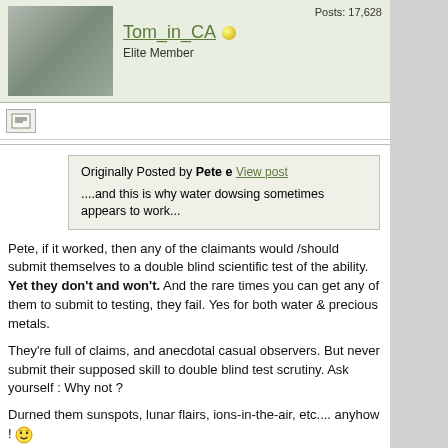Tom_in_CA — Elite Member — Posts: 17,628
[Figure (photo): Profile photo showing two people, a man and a woman]
Originally Posted by Pete e View post
....and this is why water dowsing sometimes appears to work...
Pete, if it worked, then any of the claimants would /should submit themselves to a double blind scientific test of the ability. Yet they don't and won't. And the rare times you can get any of them to submit to testing, they fail. Yes for both water & precious metals.

They're full of claims, and anecdotal casual observers. But never submit their supposed skill to double blind test scrutiny. Ask yourself : Why not ?

Durned them sunspots, lunar flairs, ions-in-the-air, etc.... anyhow ! 😵